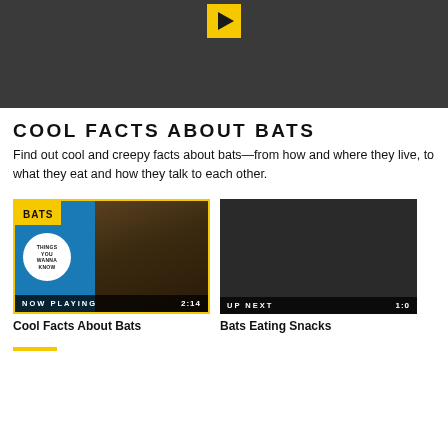[Figure (screenshot): Dark video player hero area with yellow play button at top center]
COOL FACTS ABOUT BATS
Find out cool and creepy facts about bats—from how and where they live, to what they eat and how they talk to each other.
[Figure (screenshot): Video thumbnail showing bats with NOW PLAYING label and 2:14 duration]
Cool Facts About Bats
[Figure (screenshot): Dark video thumbnail with UP NEXT label and 1:0 duration shown]
Bats Eating Snacks